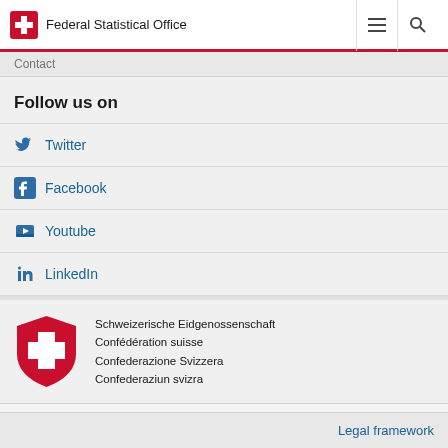Federal Statistical Office
Contact
Follow us on
Twitter
Facebook
Youtube
LinkedIn
Schweizerische Eidgenossenschaft
Confédération suisse
Confederazione Svizzera
Conferaziun svizra
Legal framework